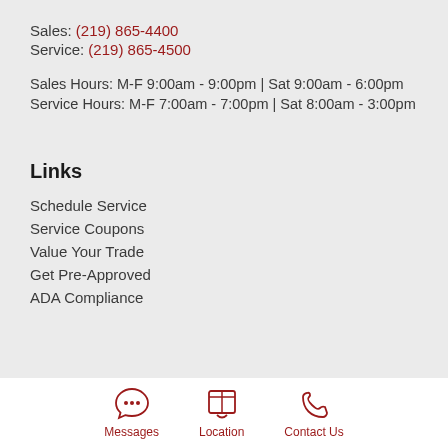Sales: (219) 865-4400
Service: (219) 865-4500
Sales Hours: M-F 9:00am - 9:00pm | Sat 9:00am - 6:00pm
Service Hours: M-F 7:00am - 7:00pm | Sat 8:00am - 3:00pm
Links
Schedule Service
Service Coupons
Value Your Trade
Get Pre-Approved
ADA Compliance
[Figure (other): Footer navigation icons: Messages (chat bubble icon), Location (map icon), Contact Us (phone icon)]